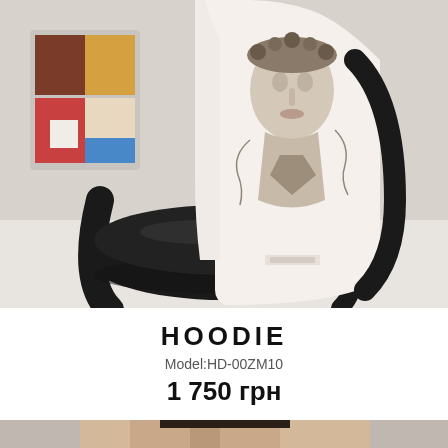[Figure (photo): Product photo of a white hoodie with a classical Greek/Roman statue print (face/bust), draped over a black modern chair in a studio setting. Colorful artwork visible in background on the left.]
HOODIE
Model:HD-00ZM10
1 750 грн
[Figure (photo): Bottom strip showing the top portion of another product photo, partially visible.]